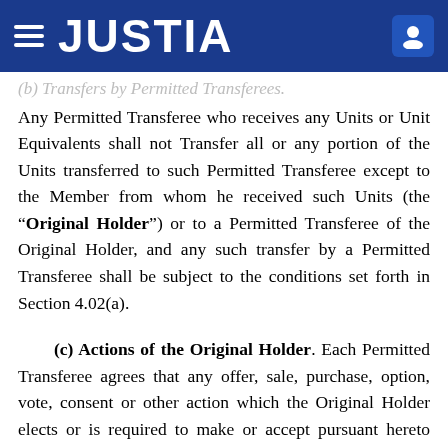JUSTIA
(b) Transfers by Permitted Transferees. Any Permitted Transferee who receives any Units or Unit Equivalents shall not Transfer all or any portion of the Units transferred to such Permitted Transferee except to the Member from whom he received such Units (the “Original Holder”) or to a Permitted Transferee of the Original Holder, and any such transfer by a Permitted Transferee shall be subject to the conditions set forth in Section 4.02(a).
(c) Actions of the Original Holder. Each Permitted Transferee agrees that any offer, sale, purchase, option, vote, consent or other action which the Original Holder elects or is required to make or accept pursuant hereto shall also be made or accepted in an identical manner by such